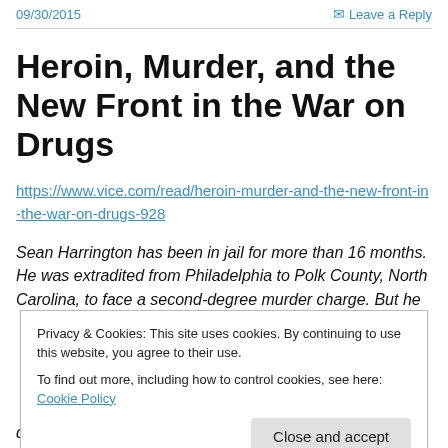09/30/2015   Leave a Reply
Heroin, Murder, and the New Front in the War on Drugs
https://www.vice.com/read/heroin-murder-and-the-new-front-in-the-war-on-drugs-928
Sean Harrington has been in jail for more than 16 months. He was extradited from Philadelphia to Polk County, North Carolina, to face a second-degree murder charge. But he
Privacy & Cookies: This site uses cookies. By continuing to use this website, you agree to their use.
To find out more, including how to control cookies, see here: Cookie Policy
Close and accept
down in her room at the CooperRiis Healing Community in